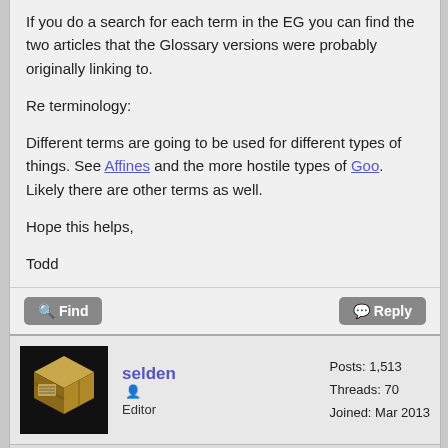If you do a search for each term in the EG you can find the two articles that the Glossary versions were probably originally linking to.
Re terminology:
Different terms are going to be used for different types of things. See Affines and the more hostile types of Goo. Likely there are other terms as well.
Hope this helps,
Todd
[Figure (screenshot): Forum action buttons: Find (grey) on left, Reply (grey) on right]
[Figure (photo): Avatar image of selden: a dark background with a 3D box/cube graphic]
selden
Editor
Posts: 1,513
Threads: 70
Joined: Mar 2013
03-25-2021, 05:41 PM (This post was last modified: 03-25-2021, 05:44 #914 PM by selden.)